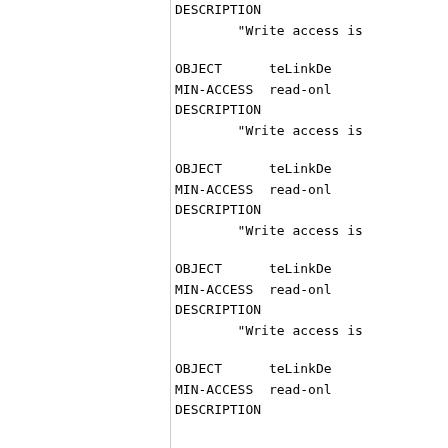DESCRIPTION
        "Write access is
OBJECT      teLinkDe
MIN-ACCESS  read-onl
DESCRIPTION
        "Write access is
OBJECT      teLinkDe
MIN-ACCESS  read-onl
DESCRIPTION
        "Write access is
OBJECT      teLinkDe
MIN-ACCESS  read-onl
DESCRIPTION
        "Write access is
OBJECT      teLinkDe
MIN-ACCESS  read-onl
DESCRIPTION